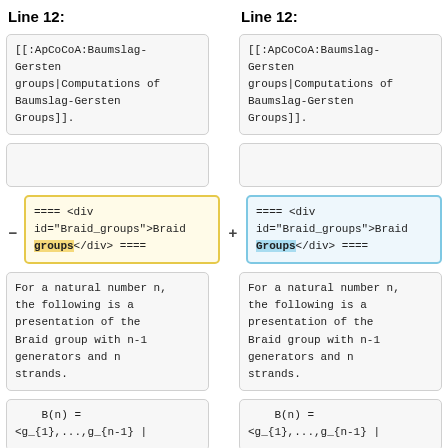Line 12:
Line 12:
[[:ApCoCoA:Baumslag-Gersten groups|Computations of Baumslag-Gersten Groups]].
[[:ApCoCoA:Baumslag-Gersten groups|Computations of Baumslag-Gersten Groups]].
==== <div id="Braid_groups">Braid groups</div> ====
==== <div id="Braid_groups">Braid Groups</div> ====
For a natural number n, the following is a presentation of the Braid group with n-1 generators and n strands.
For a natural number n, the following is a presentation of the Braid group with n-1 generators and n strands.
B(n) =
<g_{1},...,g_{n-1} |
B(n) =
<g_{1},...,g_{n-1} |